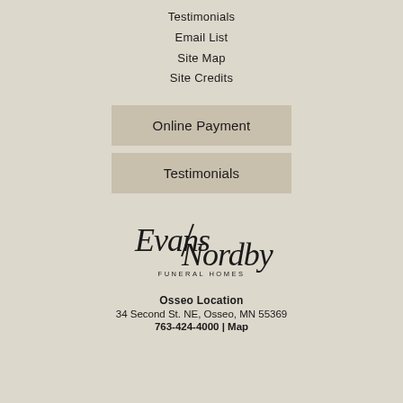Testimonials
Email List
Site Map
Site Credits
Online Payment
Testimonials
[Figure (logo): Evans Nordby Funeral Homes script logo]
Osseo Location
34 Second St. NE, Osseo, MN 55369
763-424-4000 | Map